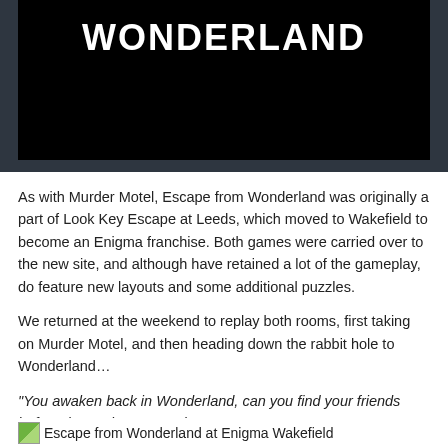[Figure (photo): Black background banner with bold white text reading WONDERLAND]
As with Murder Motel, Escape from Wonderland was originally a part of Look Key Escape at Leeds, which moved to Wakefield to become an Enigma franchise. Both games were carried over to the new site, and although have retained a lot of the gameplay, do feature new layouts and some additional puzzles.
We returned at the weekend to replay both rooms, first taking on Murder Motel, and then heading down the rabbit hole to Wonderland…
“You awaken back in Wonderland, can you find your friends before the Red Queen arrives?”
Escape from Wonderland at Enigma Wakefield